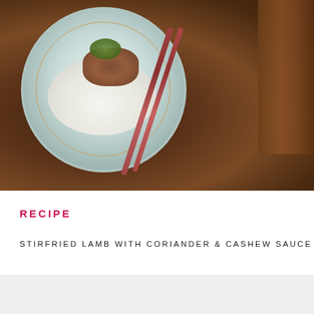[Figure (photo): Overhead food photography of a bowl of stirfried lamb with coriander and cashew sauce served over white rice, with red chopsticks resting across a wooden table surface. A wooden cylindrical object is visible in the upper right.]
RECIPE
STIRFRIED LAMB WITH CORIANDER & CASHEW SAUCE